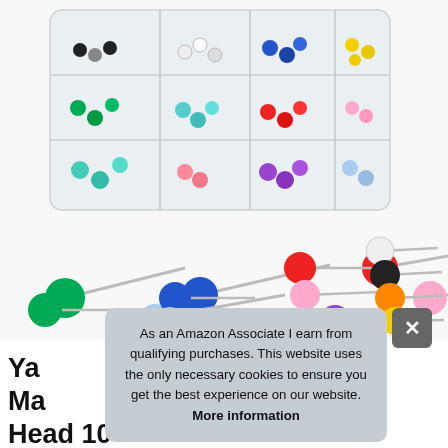[Figure (photo): A plastic compartment box filled with colorful push pins/map tacks in various colors (black, white, green, teal, red, pink, blue, light blue, purple, yellow, orange). Below the box, individual push pins are displayed showing their round colored heads and metal needle points: green, blue, light blue, red, pink, purple, white, black, orange, yellow pins shown individually.]
As an Amazon Associate I earn from qualifying purchases. This website uses the only necessary cookies to ensure you get the best experience on our website. More information
Ya Ma Head 10 Assorted Colors